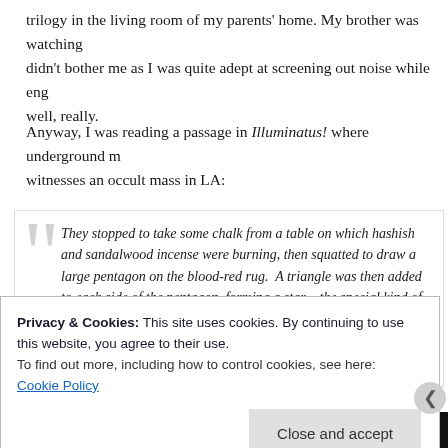trilogy in the living room of my parents' home. My brother was watching it didn't bother me as I was quite adept at screening out noise while eng well, really.
Anyway, I was reading a passage in Illuminatus! where underground m witnesses an occult mass in LA:
They stopped to take some chalk from a table on which hashish and sandalwood incense were burning, then squatted to draw a large pentagon on the blood-red rug.  A triangle was then added to each side of the pentagon, forming a star – the special kind of star, Joe knew, which was known as a pentagram, symbol of werewolves and also of demons. He found himself remembering the corny old poem from the Lon Chaney, Jr. movies, but it
Privacy & Cookies: This site uses cookies. By continuing to use this website, you agree to their use.
To find out more, including how to control cookies, see here: Cookie Policy
Close and accept